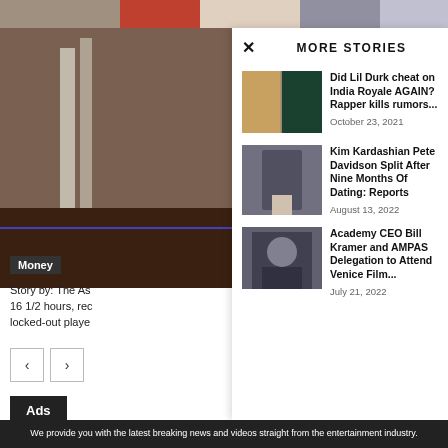[Figure (photo): Top image strip with various celebrity photos]
[Figure (photo): Left column photo showing sports/ladder scene on brownish background]
Money
Story by: The As... 16 1/2 hours, rec... locked-out playe...
MORE STORIES
Did Lil Durk cheat on India Royale AGAIN? Rapper kills rumors...
October 23, 2021
Kim Kardashian Pete Davidson Split After Nine Months Of Dating: Reports
August 13, 2022
Academy CEO Bill Kramer and AMPAS Delegation to Attend Venice Film...
July 21, 2022
We provide you with the latest breaking news and videos straight from the entertainment industry.